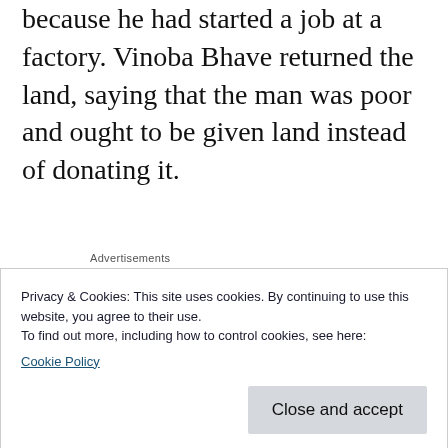because he had started a job at a factory. Vinoba Bhave returned the land, saying that the man was poor and ought to be given land instead of donating it.
Advertisements
• A beggar requested alms of R. Israel, the Zaddik of Pylov, who felt sorry for the beggar and gave him some coins. But as the beggar
Privacy & Cookies: This site uses cookies. By continuing to use this website, you agree to their use.
To find out more, including how to control cookies, see here:
Cookie Policy
Close and accept
explained that he had felt sorry for the beggar